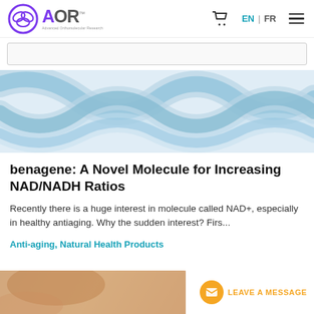[Figure (logo): AOR Advanced Orthomolecular Research logo with purple circular icon and grey AOR text]
[Figure (photo): Close-up scientific image of blue twisted DNA or molecular strands on white background]
benagene: A Novel Molecule for Increasing NAD/NADH Ratios
Recently there is a huge interest in molecule called NAD+, especially in healthy antiaging. Why the sudden interest? Firs...
Anti-aging, Natural Health Products
[Figure (photo): Partial photo of person's face/skin at bottom left]
LEAVE A MESSAGE